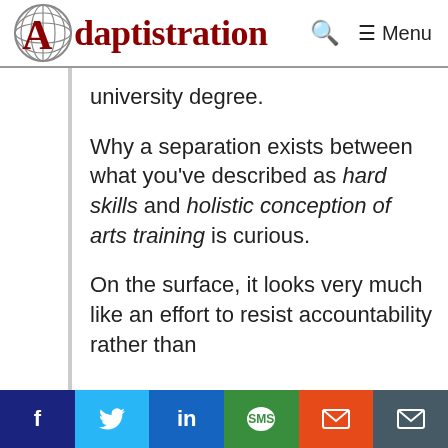Adaptistration — Menu
university degree.
Why a separation exists between what you've described as hard skills and holistic conception of arts training is curious.
On the surface, it looks very much like an effort to resist accountability rather than
f  (Twitter)  in  SMS  (email)  (email)